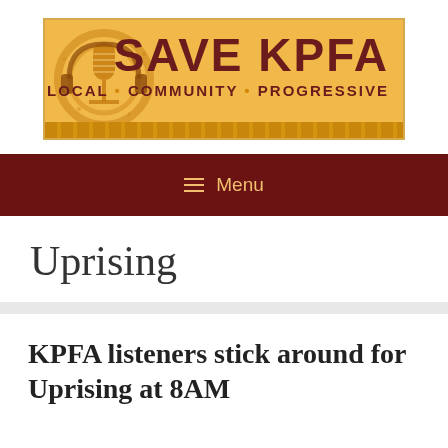[Figure (logo): Save KPFA logo — orange/gold background with microphone illustration, bold dark red text reading SAVE KPFA, tagline LOCAL • COMMUNITY • PROGRESSIVE]
≡ Menu
Uprising
KPFA listeners stick around for Uprising at 8AM